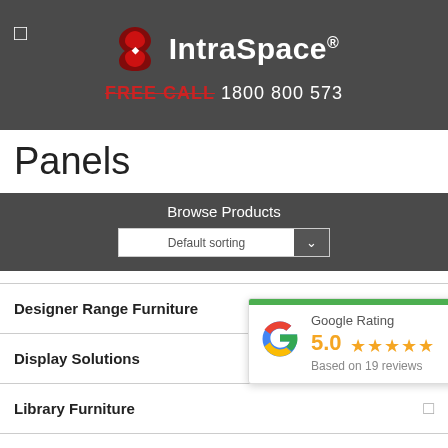IntraSpace® FREE CALL 1800 800 573
Panels
Browse Products
Default sorting
Designer Range Furniture
Display Solutions
Library Furniture
Lockers
[Figure (infographic): Google Rating widget showing 5.0 stars based on 19 reviews with green top bar]
Medical PPE